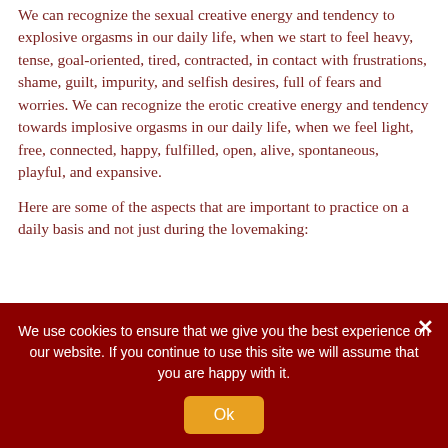We can recognize the sexual creative energy and tendency to explosive orgasms in our daily life, when we start to feel heavy, tense, goal-oriented, tired, contracted, in contact with frustrations, shame, guilt, impurity, and selfish desires, full of fears and worries. We can recognize the erotic creative energy and tendency towards implosive orgasms in our daily life, when we feel light, free, connected, happy, fulfilled, open, alive, spontaneous, playful, and expansive.
Here are some of the aspects that are important to practice on a daily basis and not just during the lovemaking:
Exercising the members of the pelvic flo...
We use cookies to ensure that we give you the best experience on our website. If you continue to use this site we will assume that you are happy with it.